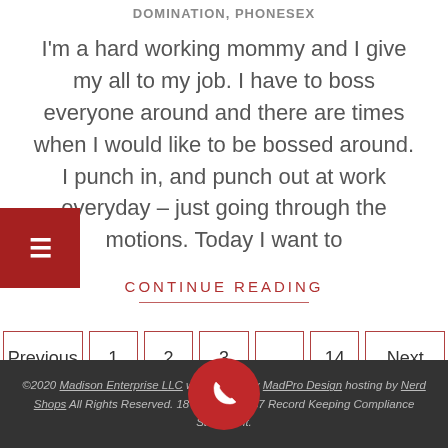DOMINATION, PHONESEX
I'm a hard working mommy and I give my all to my job. I have to boss everyone around and there are times when I would like to be bossed around. I punch in, and punch out at work everyday – just going through the motions. Today I want to
CONTINUE READING
Previous | 1 | 2 | 3 | ... | 14 | Next
©2020 Madison Enterprise LLC web design by MadPro Design hosting by Nerd Shops All Rights Reserved. 18 U.S.C. § 2257 Record Keeping Compliance Statement.